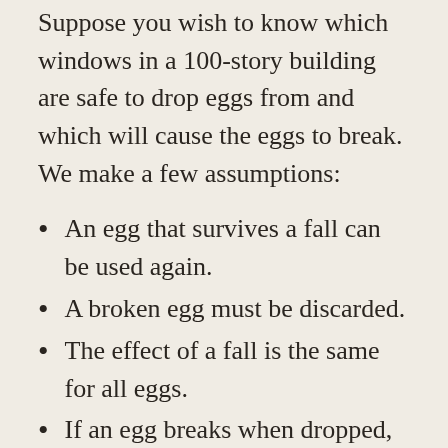Suppose you wish to know which windows in a 100-story building are safe to drop eggs from and which will cause the eggs to break.  We make a few assumptions:
An egg that survives a fall can be used again.
A broken egg must be discarded.
The effect of a fall is the same for all eggs.
If an egg breaks when dropped, then it